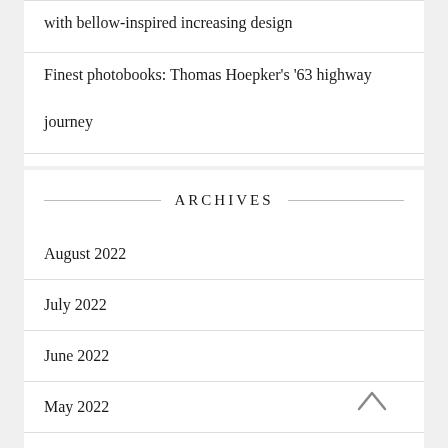with bellow-inspired increasing design
Finest photobooks: Thomas Hoepker's '63 highway journey
ARCHIVES
August 2022
July 2022
June 2022
May 2022
April 2022